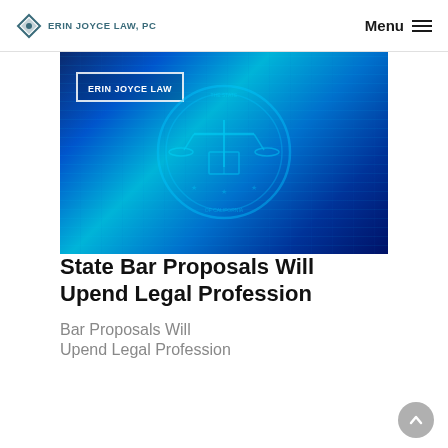ERIN JOYCE LAW, PC  Menu
[Figure (photo): Hero image with blue digital/technology background showing California State Bar seal overlay, with 'ERIN JOYCE LAW' badge in upper left]
State Bar Proposals Will Upend Legal Profession
Bar Proposals Will Upend Legal Profession